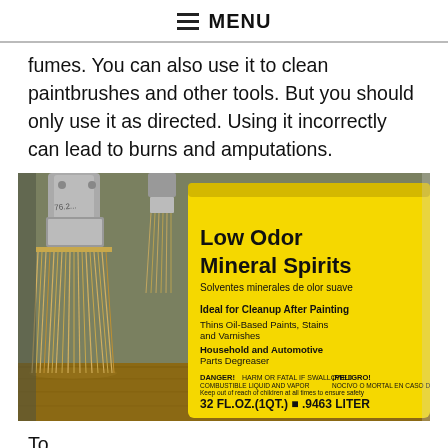MENU
fumes. You can also use it to clean paintbrushes and other tools. But you should only use it as directed. Using it incorrectly can lead to burns and amputations.
[Figure (photo): A paintbrush leaning against a yellow can of Low Odor Mineral Spirits (32 FL.OZ. / 1QT. / .9463 LITER). The can label reads: Low Odor Mineral Spirits, Solventes minerales de olor suave. Ideal for Cleanup After Painting. Thins Oil-Based Paints, Stains and Varnishes. Household and Automotive Parts Degreaser. DANGER! warning text. PELIGRO! warning text.]
To...